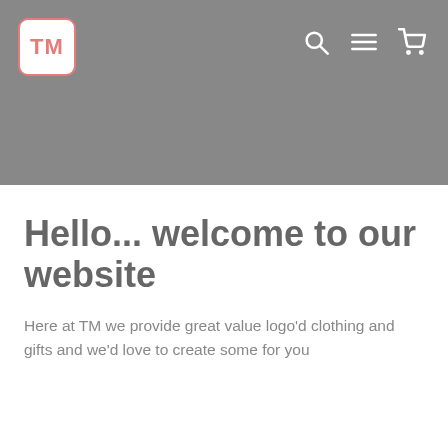[Figure (logo): TM logo: white rounded square with pink/salmon border and 'TM' text in pink/salmon color]
[Figure (screenshot): Navigation bar icons: search (magnifying glass), menu (hamburger lines), cart (shopping cart) — all white on grey background]
Hello... welcome to our website
Here at TM we provide great value logo’d clothing and gifts and we’d love to create some for you